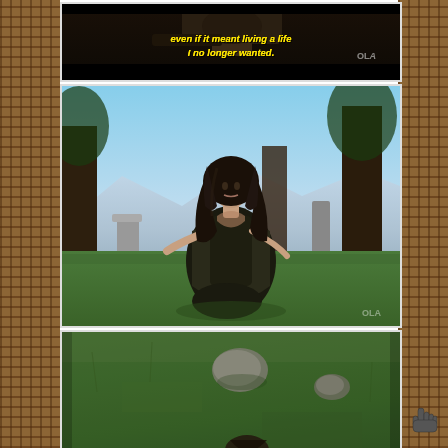[Figure (screenshot): Top film screenshot panel showing dark scene with yellow italic subtitle text: 'even if it meant living a life I no longer wanted.' with OLA watermark visible]
[Figure (screenshot): Middle film screenshot showing a woman with long dark hair in dark clothing kneeling on grass outdoors near standing stones, looking upward, with trees and mountains in background]
[Figure (screenshot): Bottom film screenshot showing an aerial/overhead view of green grass with scattered stones and a white object at the bottom edge]